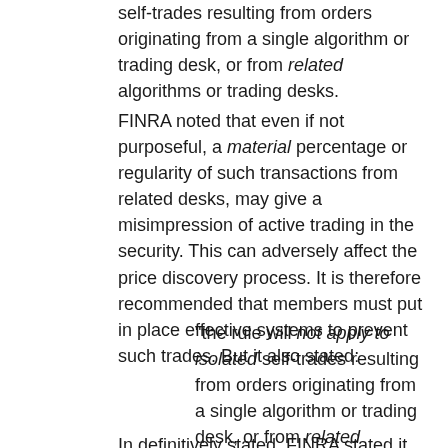self-trades resulting from orders originating from a single algorithm or trading desk, or from related algorithms or trading desks.
FINRA noted that even if not purposeful, a material percentage or regularity of such transactions from related desks, may give a misimpression of active trading in the security. This can adversely affect the price discovery process. It is therefore recommended that members must put in place effective systems to prevent such trades. But it also stated:
"the rule will not apply to isolated self-trades resulting from orders originating from a single algorithm or trading desk, or from related algorithms or trading desks, provided the firm's policies and procedures were reasonably designed".
In definitively stated, FINRA stated it...